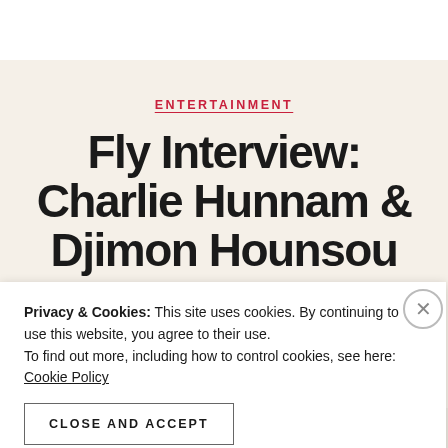ENTERTAINMENT
Fly Interview: Charlie Hunnam & Djimon Hounsou Talks ‘King Arthur: Legend of the
Privacy & Cookies: This site uses cookies. By continuing to use this website, you agree to their use.
To find out more, including how to control cookies, see here: Cookie Policy
CLOSE AND ACCEPT